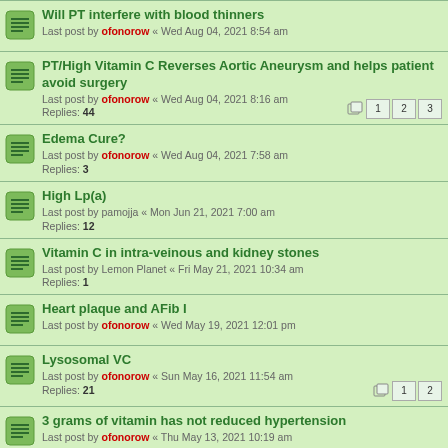Will PT interfere with blood thinners
Last post by ofonorow « Wed Aug 04, 2021 8:54 am
PT/High Vitamin C Reverses Aortic Aneurysm and helps patient avoid surgery
Last post by ofonorow « Wed Aug 04, 2021 8:16 am
Replies: 44
Pages: 1 2 3
Edema Cure?
Last post by ofonorow « Wed Aug 04, 2021 7:58 am
Replies: 3
High Lp(a)
Last post by pamojja « Mon Jun 21, 2021 7:00 am
Replies: 12
Vitamin C in intra-veinous and kidney stones
Last post by Lemon Planet « Fri May 21, 2021 10:34 am
Replies: 1
Heart plaque and AFib I
Last post by ofonorow « Wed May 19, 2021 12:01 pm
Lysosomal VC
Last post by ofonorow « Sun May 16, 2021 11:54 am
Replies: 21
Pages: 1 2
3 grams of vitamin has not reduced hypertension
Last post by ofonorow « Thu May 13, 2021 10:19 am
German trying to use PT to lower Lp(a) without success
Last post by ofonorow « Fri Apr 09, 2021 10:08 am
Replies: 569
Pages: 1 ... 35 36 37 38
Absorption of vitamin C